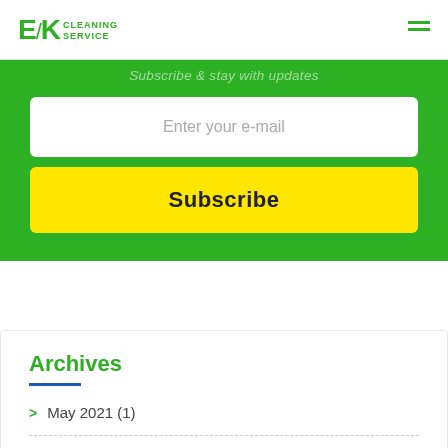EK CLEANING SERVICE
Subscribe & stay with updates
Enter your e-mail
Subscribe
Archives
May 2021 (1)